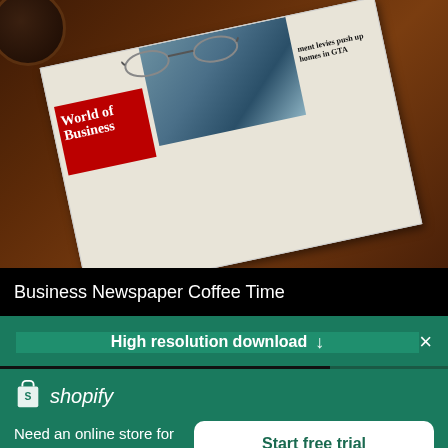[Figure (photo): Overhead photo of a business newspaper on a wooden table with eyeglasses resting on top and a coffee cup visible in the upper left corner. The newspaper shows a red section labeled 'Business' and a photo of what appears to be a city skyline with headline text visible.]
Business Newspaper Coffee Time
High resolution download ↓
[Figure (logo): Shopify logo — white shopping bag icon with the letter S, followed by the word 'shopify' in white text]
Need an online store for your business?
Start free trial